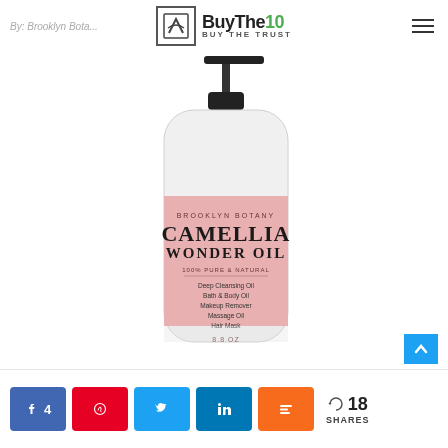By: Brooklyn Botany | BuyThe10 — Buy The Trust
[Figure (photo): A clear glass pump bottle of Brooklyn Botany Camellia Wonder Oil, 8.8 oz. The bottle has a pink label reading: BROOKLYN BOTANY, CAMELLIA WONDER OIL, 100% PURE & NATURAL, Deep Cleansing Oil, Bath & Body Oil, Makeup Remover, Massage Oil, Hair Mask, 8.8 OZ. The bottle has a black pump dispenser on top.]
Share buttons: Facebook 4, Pinterest, Twitter, LinkedIn, Mix | 18 SHARES